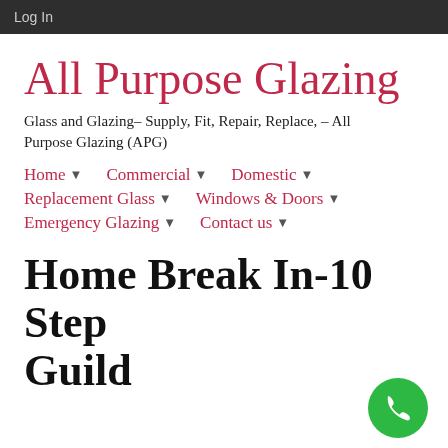Log In
All Purpose Glazing
Glass and Glazing– Supply, Fit, Repair, Replace, – All Purpose Glazing (APG)
Home ▼   Commercial ▼   Domestic ▼
Replacement Glass ▼   Windows & Doors ▼
Emergency Glazing ▼   Contact us ▼
Home Break In-10 Step Guild